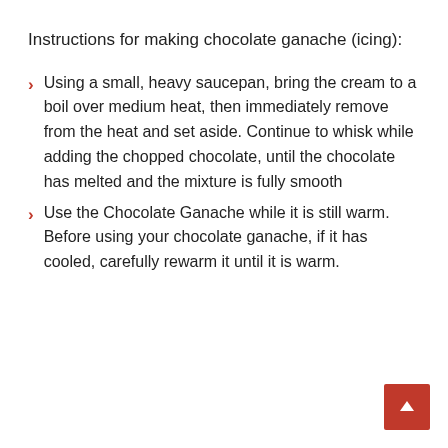Instructions for making chocolate ganache (icing):
Using a small, heavy saucepan, bring the cream to a boil over medium heat, then immediately remove from the heat and set aside. Continue to whisk while adding the chopped chocolate, until the chocolate has melted and the mixture is fully smooth
Use the Chocolate Ganache while it is still warm. Before using your chocolate ganache, if it has cooled, carefully rewarm it until it is warm.